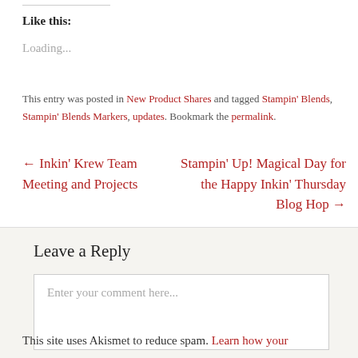Like this:
Loading...
This entry was posted in New Product Shares and tagged Stampin' Blends, Stampin' Blends Markers, updates. Bookmark the permalink.
← Inkin' Krew Team Meeting and Projects
Stampin' Up! Magical Day for the Happy Inkin' Thursday Blog Hop →
Leave a Reply
Enter your comment here...
This site uses Akismet to reduce spam. Learn how your